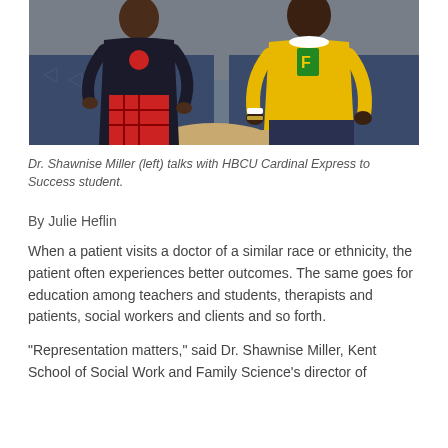[Figure (photo): Two women seated in chairs having a conversation. The woman on the left wears dark clothing with red plaid pants. The woman on the right wears a yellow/gold sweatshirt. A round wooden table is in front of them.]
Dr. Shawnise Miller (left) talks with HBCU Cardinal Express to Success student.
By Julie Heflin
When a patient visits a doctor of a similar race or ethnicity, the patient often experiences better outcomes. The same goes for education among teachers and students, therapists and patients, social workers and clients and so forth.
“Representation matters,” said Dr. Shawnise Miller, Kent School of Social Work and Family Science’s director of